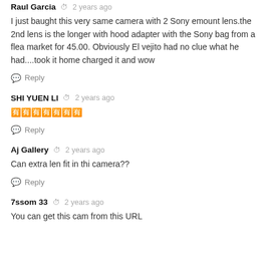Raul Garcia  2 years ago
I just baught this very same camera with 2 Sony emount lens.the 2nd lens is the longer with hood adapter with the Sony bag from a flea market for 45.00. Obviously El vejito had no clue what he had....took it home charged it and wow
Reply
SHI YUEN LI  2 years ago
🈶🈶🈶🈶🈶🈶🈶
Reply
Aj Gallery  2 years ago
Can extra len fit in thi camera??
Reply
7ssom 33  2 years ago
You can get this cam from this URL